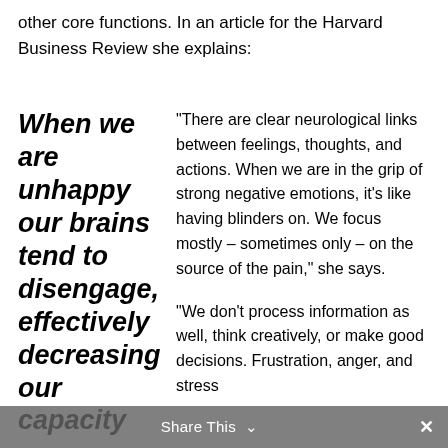other core functions. In an article for the Harvard Business Review she explains:
When we are unhappy our brains tend to disengage, effectively decreasing our capacity
“There are clear neurological links between feelings, thoughts, and actions. When we are in the grip of strong negative emotions, it’s like having blinders on. We focus mostly – sometimes only – on the source of the pain,” she says.
“We don’t process information as well, think creatively, or make good decisions. Frustration, anger, and stress
Share This ⌄ ×